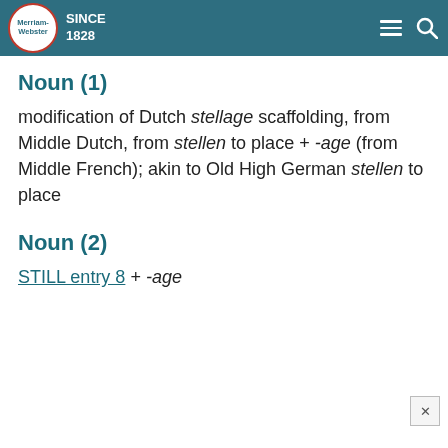Merriam-Webster SINCE 1828
Noun (1)
modification of Dutch stellage scaffolding, from Middle Dutch, from stellen to place + -age (from Middle French); akin to Old High German stellen to place
Noun (2)
STILL entry 8 + -age